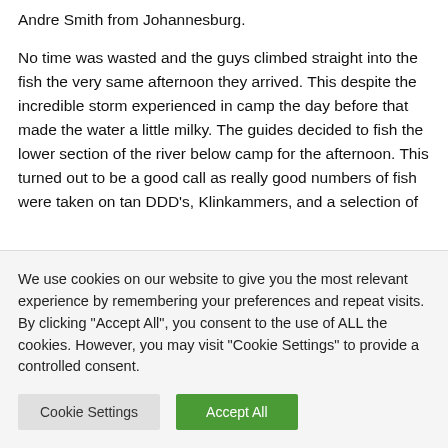Andre Smith from Johannesburg.

No time was wasted and the guys climbed straight into the fish the very same afternoon they arrived. This despite the incredible storm experienced in camp the day before that made the water a little milky. The guides decided to fish the lower section of the river below camp for the afternoon. This turned out to be a good call as really good numbers of fish were taken on tan DDD's, Klinkammers, and a selection of
We use cookies on our website to give you the most relevant experience by remembering your preferences and repeat visits. By clicking "Accept All", you consent to the use of ALL the cookies. However, you may visit "Cookie Settings" to provide a controlled consent.